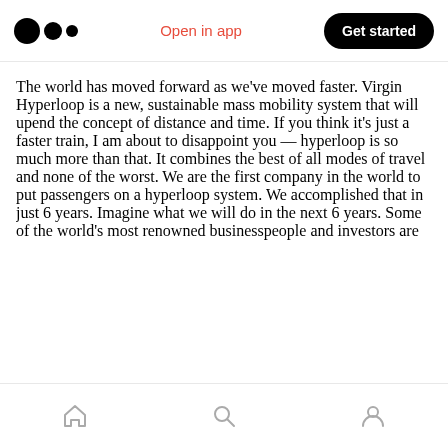Medium logo | Open in app | Get started
The world has moved forward as we've moved faster. Virgin Hyperloop is a new, sustainable mass mobility system that will upend the concept of distance and time. If you think it's just a faster train, I am about to disappoint you — hyperloop is so much more than that. It combines the best of all modes of travel and none of the worst. We are the first company in the world to put passengers on a hyperloop system. We accomplished that in just 6 years. Imagine what we will do in the next 6 years. Some of the world's most renowned businesspeople and investors are
Home | Search | Profile